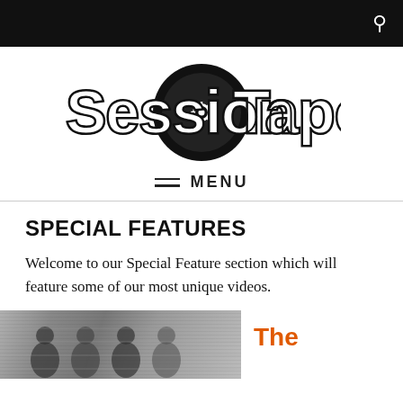[Figure (logo): SessionTapes logo: stylized bold outlined text 'SessionTapes' with a large black vinyl record/disc replacing the 'io' in 'Session', featuring a gear/sprocket icon in the center of the disc.]
MENU
SPECIAL FEATURES
Welcome to our Special Feature section which will feature some of our most unique videos.
[Figure (photo): Black and white photograph showing a group of people standing in front of a brick wall.]
The